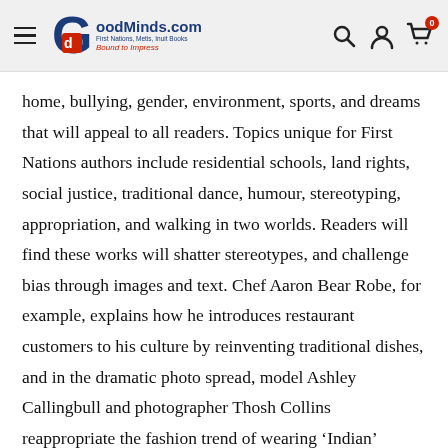GoodMinds.com — First Nations, Metis, Inuit Books. Bound to Impress.
home, bullying, gender, environment, sports, and dreams that will appeal to all readers. Topics unique for First Nations authors include residential schools, land rights, social justice, traditional dance, humour, stereotyping, appropriation, and walking in two worlds. Readers will find these works will shatter stereotypes, and challenge bias through images and text. Chef Aaron Bear Robe, for example, explains how he introduces restaurant customers to his culture by reinventing traditional dishes, and in the dramatic photo spread, model Ashley Callingbull and photographer Thosh Collins reappropriate the fashion trend of wearing ‘Indian’ clothing. Not all writing is serious, as the stand-up comedian Ryan McMahon makes his own truth through images and